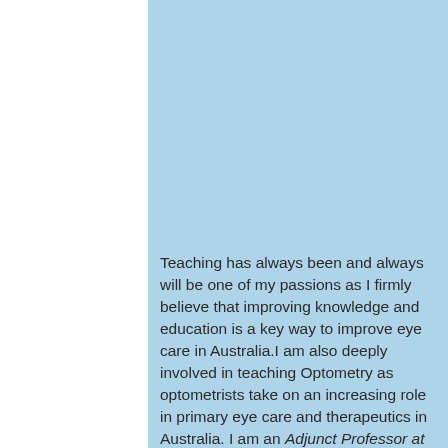Teaching has always been and always will be one of my passions as I firmly believe that improving knowledge and education is a key way to improve eye care in Australia.I am also deeply involved in teaching Optometry as optometrists take on an increasing role in primary eye care and therapeutics in Australia. I am an Adjunct Professor at the University of Canberra, helping with the curriculum development and lecturing. The youthful enthusiasm of